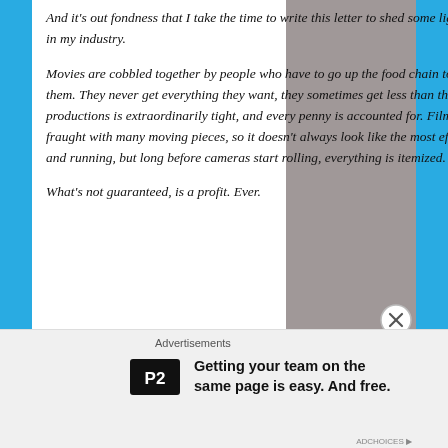And it's out fondness that I take the time to write this letter to shed some light on how decisions are made in my industry.
Movies are cobbled together by people who have to go up the food chain to ask for the money to make them. They never get everything they want, they sometimes get less than they need, but accounting on productions is extraordinarily tight, and every penny is accounted for. Filmmaking is a crazy process, fraught with many moving pieces, so it doesn't always look like the most efficient operation once it's up and running, but long before cameras start rolling, everything is itemized. That much is guaranteed.
What's not guaranteed, is a profit. Ever.
[Figure (other): Gray rectangle placeholder image on the right side of the page]
Advertisements
Getting your team on the same page is easy. And free.